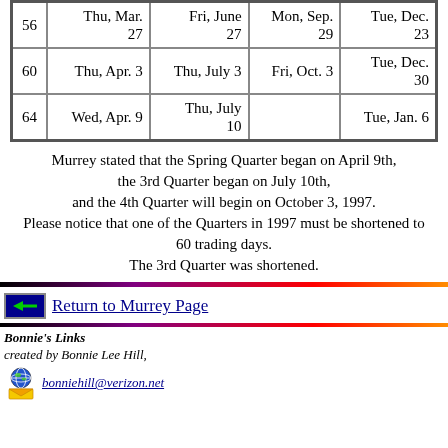|  | Q1 Start | Q2 Start | Q3 Start | Q4 Start |
| --- | --- | --- | --- | --- |
| 56 | Thu, Mar. 27 | Fri, June 27 | Mon, Sep. 29 | Tue, Dec. 23 |
| 60 | Thu, Apr. 3 | Thu, July 3 | Fri, Oct. 3 | Tue, Dec. 30 |
| 64 | Wed, Apr. 9 | Thu, July 10 |  | Tue, Jan. 6 |
Murrey stated that the Spring Quarter began on April 9th, the 3rd Quarter began on July 10th, and the 4th Quarter will begin on October 3, 1997. Please notice that one of the Quarters in 1997 must be shortened to 60 trading days. The 3rd Quarter was shortened.
Return to Murrey Page
Bonnie's Links
created by Bonnie Lee Hill,
bonniehill@verizon.net